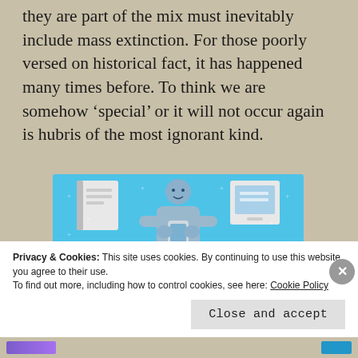they are part of the mix must inevitably include mass extinction. For those poorly versed on historical fact, it has happened many times before. To think we are somehow ‘special’ or it will not occur again is hubris of the most ignorant kind.
[Figure (illustration): Advertisement banner for Day One journaling app on a light blue background. Shows a cartoon figure holding a phone with notebook and tablet graphics. Text reads 'DAY ONE - The only journaling app you'll ever need.' with a 'Get the app' button.]
Privacy & Cookies: This site uses cookies. By continuing to use this website, you agree to their use.
To find out more, including how to control cookies, see here: Cookie Policy
Close and accept